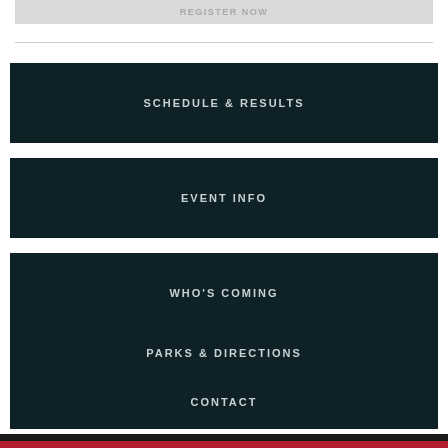REGISTER NOW
SCHEDULE & RESULTS
EVENT INFO
WHO'S COMING
PARKS & DIRECTIONS
CONTACT